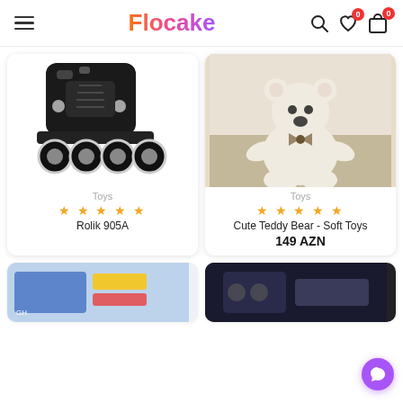Flocake — navigation header with hamburger menu, search icon, wishlist (0), cart (0)
[Figure (photo): Black inline roller skates (Rolik 905A) on white background]
Toys
★★★★★
Rolik 905A
[Figure (photo): Large white plush teddy bear with bow tie sitting in a room]
Toys
★★★★★
Cute Teddy Bear - Soft Toys
149 AZN
[Figure (photo): Partially visible product card at bottom left — appears to be a board game or toy box]
[Figure (photo): Partially visible product card at bottom right — dark colored product]